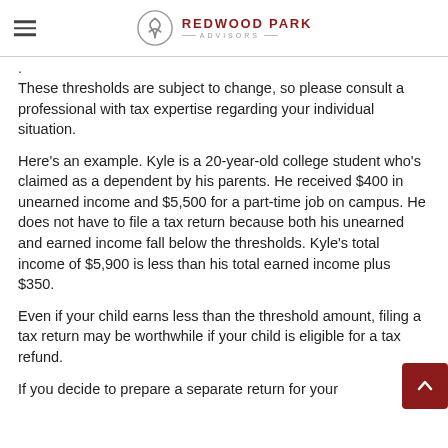REDWOOD PARK ADVISORS
These thresholds are subject to change, so please consult a professional with tax expertise regarding your individual situation.
Here's an example. Kyle is a 20-year-old college student who's claimed as a dependent by his parents. He received $400 in unearned income and $5,500 for a part-time job on campus. He does not have to file a tax return because both his unearned and earned income fall below the thresholds. Kyle's total income of $5,900 is less than his total earned income plus $350.
Even if your child earns less than the threshold amount, filing a tax return may be worthwhile if your child is eligible for a tax refund.
If you decide to prepare a separate return for your